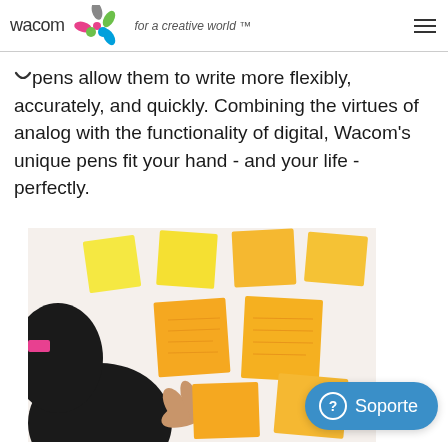Wacom for a creative world™
pens allow them to write more flexibly, accurately, and quickly. Combining the virtues of analog with the functionality of digital, Wacom's unique pens fit your hand - and your life - perfectly.
[Figure (photo): Person pointing at orange/yellow sticky notes on a white wall, viewed from behind.]